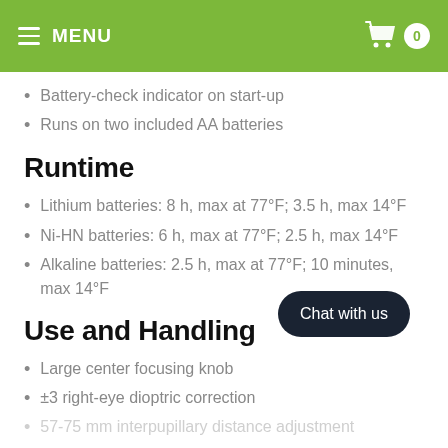MENU  0
Battery-check indicator on start-up
Runs on two included AA batteries
Runtime
Lithium batteries: 8 h, max at 77°F; 3.5 h, max 14°F
Ni-HN batteries: 6 h, max at 77°F; 2.5 h, max 14°F
Alkaline batteries: 2.5 h, max at 77°F; 10 minutes, max 14°F
Use and Handling
Large center focusing knob
±3 right-eye dioptric correction
57-75 mm interpupillary distance adjustment